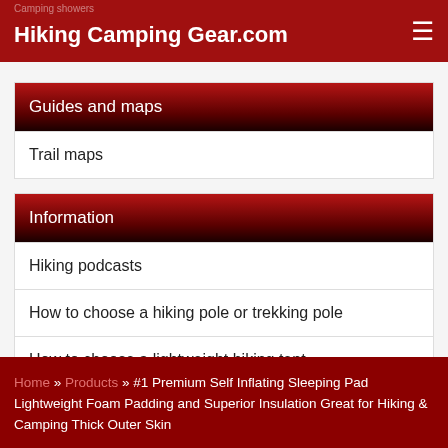Hiking Camping Gear.com
Guides and maps
Trail maps
Information
Hiking podcasts
How to choose a hiking pole or trekking pole
How to choose a lightweight hiking tent
Home » Products » #1 Premium Self Inflating Sleeping Pad Lightweight Foam Padding and Superior Insulation Great for Hiking & Camping Thick Outer Skin